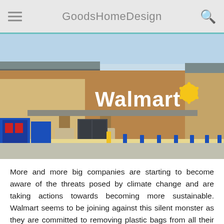GoodsHomeDesign
[Figure (photo): Exterior photo of a Walmart store showing the large brown building facade with the Walmart logo (white letters with yellow spark icon), blue bollards in the parking lot, blue vending machines on the left, and a clear sky in the background.]
More and more big companies are starting to become aware of the threats posed by climate change and are taking actions towards becoming more sustainable. Walmart seems to be joining against this silent monster as they are committed to removing plastic bags from all their stores. Walmart started to become more conscious since the pandemic, and they switched